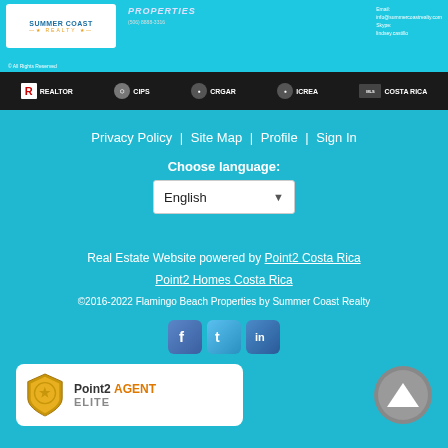[Figure (screenshot): Header with Summer Coast Realty logo, Properties title, contact info, and navigation bar with REALTOR, CIPS, CRGAR, ICREA, MLS Costa Rica logos on dark background]
Privacy Policy | Site Map | Profile | Sign In
Choose language:
English
Real Estate Website powered by Point2 Costa Rica
Point2 Homes Costa Rica
©2016-2022 Flamingo Beach Properties by Summer Coast Realty
[Figure (logo): Social media icons: Facebook, Twitter, LinkedIn]
[Figure (logo): Point2 AGENT ELITE badge]
[Figure (other): Scroll to top button with up chevron]